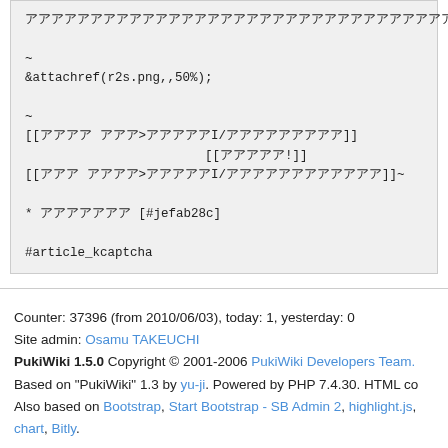（code box content with Japanese characters and wiki markup）
Counter: 37396 (from 2010/06/03), today: 1, yesterday: 0
Site admin: Osamu TAKEUCHI
PukiWiki 1.5.0 Copyright © 2001-2006 PukiWiki Developers Team.
Based on "PukiWiki" 1.3 by yu-ji. Powered by PHP 7.4.30. HTML co
Also based on Bootstrap, Start Bootstrap - SB Admin 2, highlight.js,
chart, Bitly.